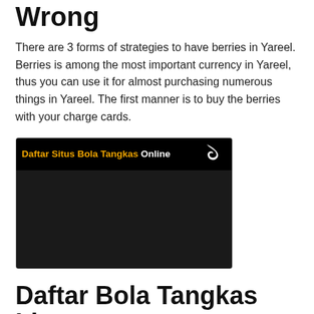Wrong
There are 3 forms of strategies to have berries in Yareel. Berries is among the most important currency in Yareel, thus you can use it for almost purchasing numerous things in Yareel. The first manner is to buy the berries with your charge cards.
[Figure (screenshot): A dark banner image with text 'Daftar Situs Bola Tangkas Online' in orange and white, with a bird silhouette on a black background.]
Daftar Bola Tangkas Ideas
The absolute best and the very good approach to get started discovering your current community is by looking up everyone and...